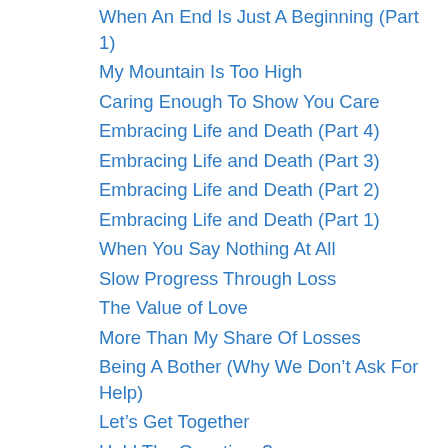When An End Is Just A Beginning (Part 1)
My Mountain Is Too High
Caring Enough To Show You Care
Embracing Life and Death (Part 4)
Embracing Life and Death (Part 3)
Embracing Life and Death (Part 2)
Embracing Life and Death (Part 1)
When You Say Nothing At All
Slow Progress Through Loss
The Value of Love
More Than My Share Of Losses
Being A Bother (Why We Don’t Ask For Help)
Let’s Get Together
Hold The Questions?